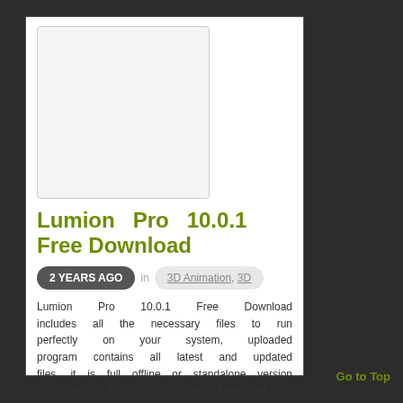[Figure (other): Blank white thumbnail placeholder image with light gray border]
Lumion Pro 10.0.1 Free Download
2 YEARS AGO  in 3D Animation, 3D
Lumion Pro 10.0.1 Free Download includes all the necessary files to run perfectly on your system, uploaded program contains all latest and updated files, it is full offline or standalone version of Lumion Pro 10.0.1 Free Download for compatible versions of Windows, download link at the end of the post.
Go to Top